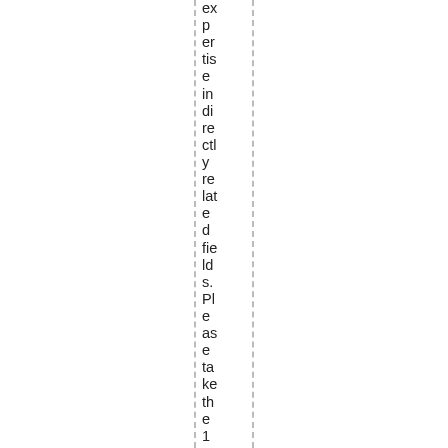expertise indirectly related fields. Please take the 15 minut